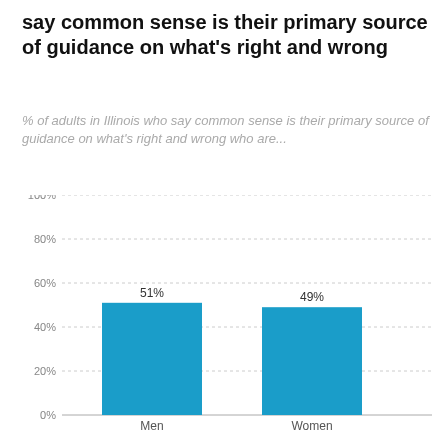say common sense is their primary source of guidance on what's right and wrong
% of adults in Illinois who say common sense is their primary source of guidance on what's right and wrong who are...
[Figure (bar-chart): ]